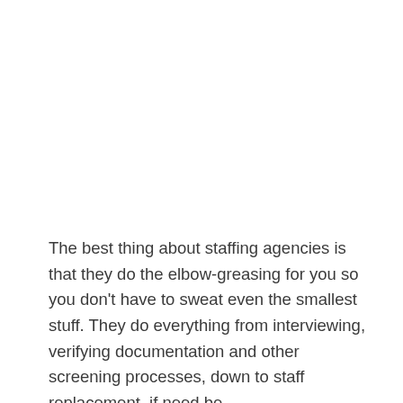The best thing about staffing agencies is that they do the elbow-greasing for you so you don't have to sweat even the smallest stuff. They do everything from interviewing, verifying documentation and other screening processes, down to staff replacement, if need be.
As the middleman, they make sure you get the